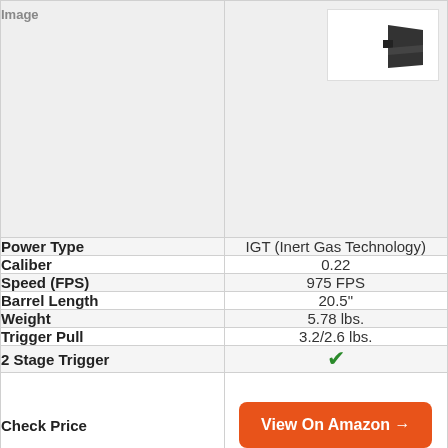| Attribute | Value |
| --- | --- |
| Image |  |
| Power Type | IGT (Inert Gas Technology) |
| Caliber | 0.22 |
| Speed (FPS) | 975 FPS |
| Barrel Length | 20.5" |
| Weight | 5.78 lbs. |
| Trigger Pull | 3.2/2.6 lbs. |
| 2 Stage Trigger | ✓ |
| Check Price | View On Amazon → |